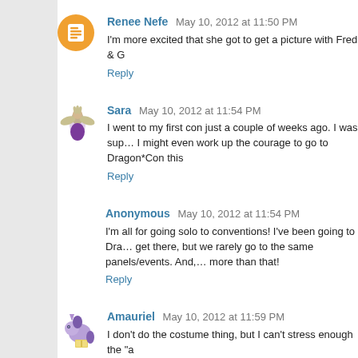Renee Nefe May 10, 2012 at 11:50 PM
I'm more excited that she got to get a picture with Fred & G…
Reply
Sara May 10, 2012 at 11:54 PM
I went to my first con just a couple of weeks ago. I was sup… I might even work up the courage to go to Dragon*Con this…
Reply
Anonymous May 10, 2012 at 11:54 PM
I'm all for going solo to conventions! I've been going to Dra… get there, but we rarely go to the same panels/events. And,… more than that!
Reply
Amauriel May 10, 2012 at 11:59 PM
I don't do the costume thing, but I can't stress enough the "a…
I go to PAX East every year, and I wear my "Rosie the Retr… me high fives, thumbs ups, compliments, or hugs for a big…